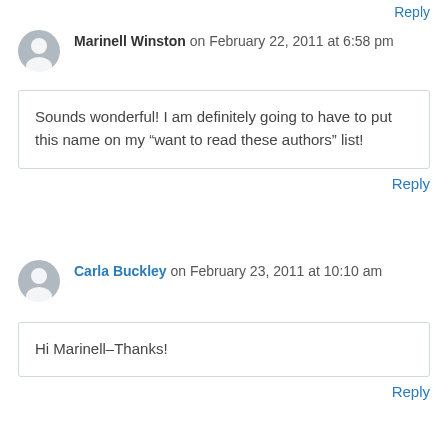Reply
Marinell Winston on February 22, 2011 at 6:58 pm
Sounds wonderful! I am definitely going to have to put this name on my “want to read these authors” list!
Reply
Carla Buckley on February 23, 2011 at 10:10 am
Hi Marinell–Thanks!
Reply